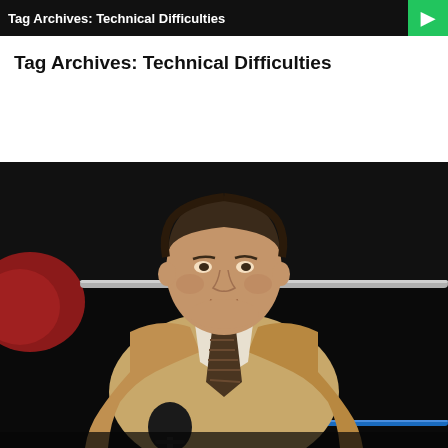Tag Archives: Technical Difficulties
Tag Archives: Technical Difficulties
[Figure (photo): A heavyset man in a tan/beige suit jacket and striped tie stands at a microphone inside a boxing ring. He appears to be an announcer or commentator. The background shows the dark arena and ring ropes.]